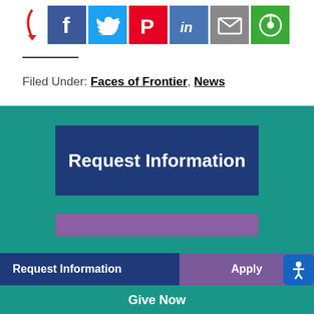[Figure (infographic): Social media sharing icons row: red arrow pointing to Facebook (blue), Twitter (light blue), Pinterest (red), LinkedIn (blue), Email (gray), Share (green) icon buttons]
Filed Under: Faces of Frontier, News
[Figure (infographic): Teal background section with large navy blue 'Request Information' button, purple bar below it, navy bottom navigation bar with 'Request Information' and 'Apply' tabs, teal 'Give Now' bar, and blue accessibility icon button]
Request Information | Apply | Give Now